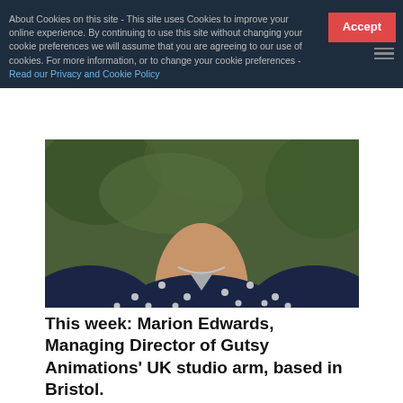About Cookies on this site - This site uses Cookies to improve your online experience. By continuing to use this site without changing your cookie preferences we will assume that you are agreeing to our use of cookies. For more information, or to change your cookie preferences - Read our Privacy and Cookie Policy
[Figure (photo): Close-up photo of a person wearing a dark navy polka dot blouse with a silver necklace, outdoors with green foliage in background. Only the neck/chest area is visible.]
This week: Marion Edwards, Managing Director of Gutsy Animations' UK studio arm, based in Bristol.
Marion Edwards is an Emmy award-winning executive producer with many years' experience overseeing large-scale animation productions. She began working with Gutsy Animations as a consultant in 2018 prior to joining the team permanently in 2020. She has an irrational dislike